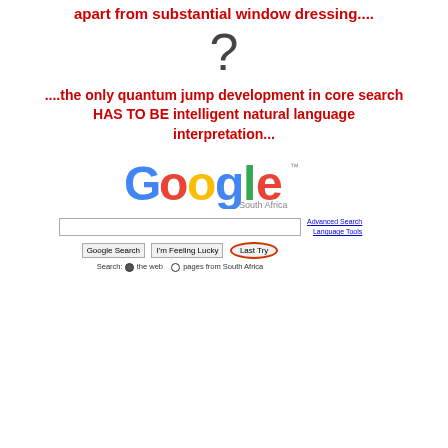apart from substantial window dressing....
[Figure (illustration): Large dark grey question mark symbol]
....the only quantum jump development in core search HAS TO BE intelligent natural language interpretation...
[Figure (screenshot): Google South Africa search page screenshot showing Google logo, search box, 'Google Search', 'I'm Feeling Lucky', and 'Last Try' buttons (Last Try circled in red/orange), with Advanced Search and Language Tools links, and search scope options 'the web' and 'pages from South Africa']